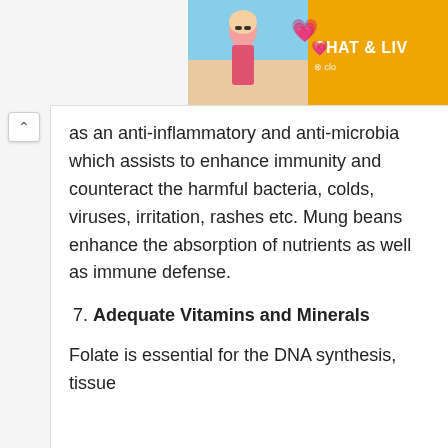[Figure (screenshot): Advertisement banner showing a woman on a beach with hearts and 'CHAT & LIV' text on orange background]
as an anti-inflammatory and anti-microbia which assists to enhance immunity and counteract the harmful bacteria, colds, viruses, irritation, rashes etc. Mung beans enhance the absorption of nutrients as well as immune defense.
7. Adequate Vitamins and Minerals
Folate is essential for the DNA synthesis, tissue